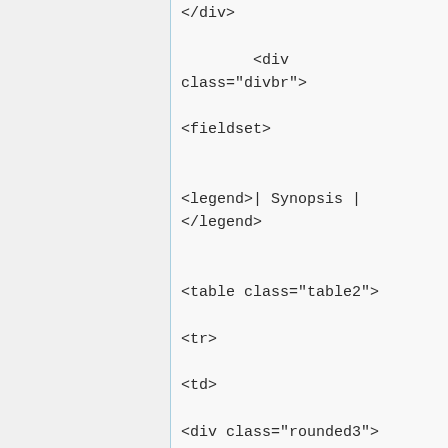</div>

        <div class="divbr">
                        <fieldset>


<legend>| Synopsis |
</legend>


<table class="table2">

<tr>

<td>

<div class="rounded3">


<!-- the <br> here is for break; not the same purpose as of above usage -->
<!-- edit the info